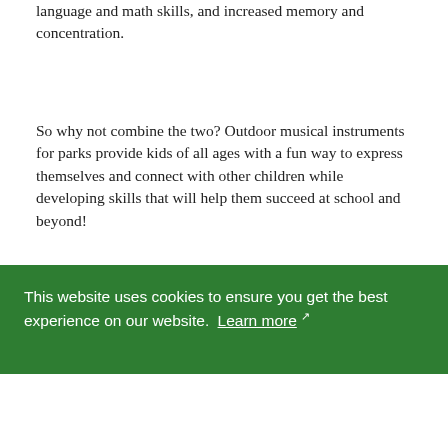language and math skills, and increased memory and concentration.
So why not combine the two? Outdoor musical instruments for parks provide kids of all ages with a fun way to express themselves and connect with other children while developing skills that will help them succeed at school and beyond!
Read on to learn how outdoor instruments for schools, playgrounds and parks can help children … nd
This website uses cookies to ensure you get the best experience on our website. Learn more ↗
Got it!
TOP 5 BENEFITS OF PLAYGROUND MUSIC